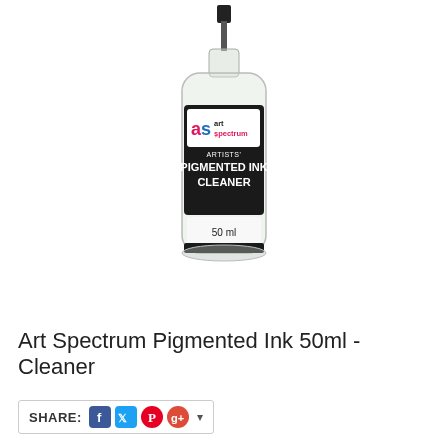[Figure (photo): Art Spectrum Pigmented Ink Cleaner 50ml bottle with dropper top, clear glass bottle with black and white label showing the Art Spectrum logo and product name]
Art Spectrum Pigmented Ink 50ml - Cleaner
SHARE: [Facebook] [Twitter] [Pinterest] [Google+] ▾